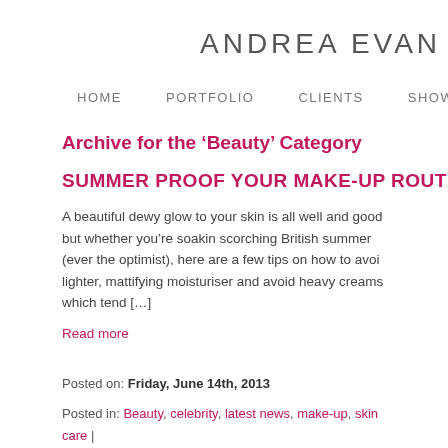ANDREA EVAN
HOME   PORTFOLIO   CLIENTS   SHOWREEL
Archive for the ‘Beauty’ Category
SUMMER PROOF YOUR MAKE-UP ROUTINE
A beautiful dewy glow to your skin is all well and good but whether you’re soaking scorching British summer (ever the optimist), here are a few tips on how to avoid lighter, mattifying moisturiser and avoid heavy creams which tend […]
Read more
Posted on: Friday, June 14th, 2013
Posted in: Beauty, celebrity, latest news, make-up, skin care |
WHY YOU SHOULDN’T WEAR MAKE-UP TO THE GYM